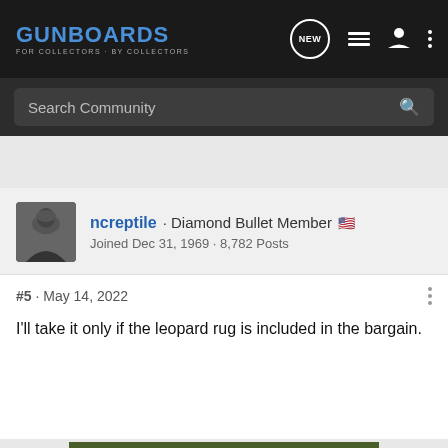GUNBOARDS FOR COLLECTORS · BY COLLECTORS
Search Community
ncreptile · Diamond Bullet Member
Joined Dec 31, 1969 · 8,782 Posts
#5 · May 14, 2022
I'll take it only if the leopard rug is included in the bargain.
[Figure (screenshot): Cabela's advertisement banner: Cabela's logo, RELOADING SUPPLIES text, SHOP NOW button]
The inter mugged